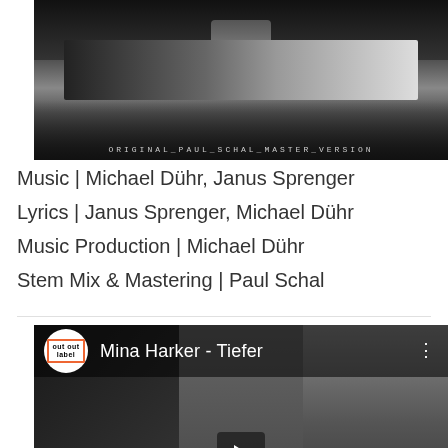[Figure (photo): Black and white album artwork photo with text 'ORIGINAL_PAUL_SCHAL_MASTER_VERSION' at the bottom]
Music | Michael Dühr, Janus Sprenger
Lyrics | Janus Sprenger, Michael Dühr
Music Production | Michael Dühr
Stem Mix & Mastering | Paul Schal
[Figure (screenshot): YouTube video embed showing 'Mina Harker - Tiefer' with a woman's face in black and white, play button visible]